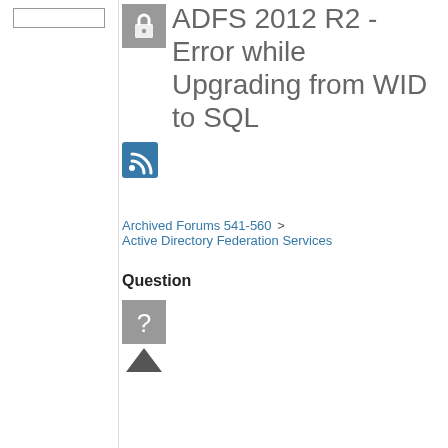ADFS 2012 R2 - Error while Upgrading from WID to SQL
[Figure (other): RSS feed icon, small blue square with RSS symbol]
Archived Forums 541-560 > Active Directory Federation Services
Question
[Figure (other): Gray square with white question mark, user avatar placeholder]
[Figure (other): Upvote arrow triangle icon]